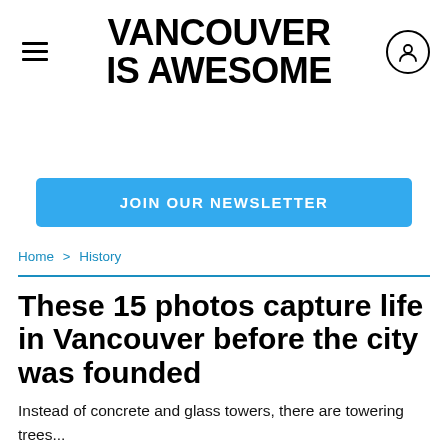VANCOUVER IS AWESOME
JOIN OUR NEWSLETTER
Home > History
These 15 photos capture life in Vancouver before the city was founded
Instead of concrete and glass towers, there are towering trees...